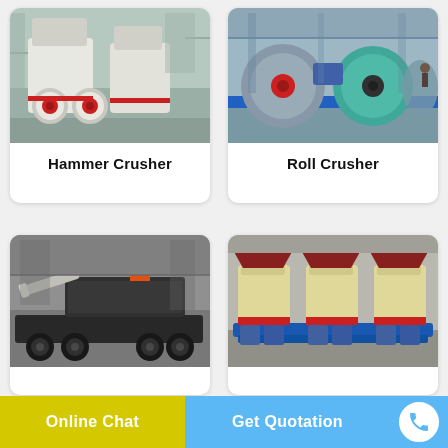[Figure (photo): Hammer Crusher industrial machine in factory setting, white body with red circular accent wheels]
Hammer Crusher
[Figure (photo): Roll Crusher industrial machine in factory, grey and teal colored large roll crushers on blue rail]
Roll Crusher
[Figure (photo): Mobile crusher unit on truck/trailer, large industrial vehicle with crushing equipment, black and orange]
[Figure (photo): Multiple crusher units in cream/yellow color with red accents mounted on blue frames, ready for shipping]
Online Chat
Get Quotation